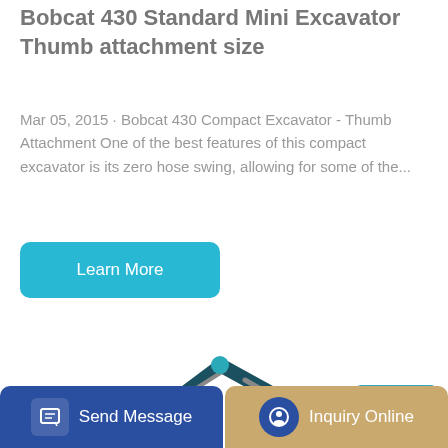Bobcat 430 Standard Mini Excavator Thumb attachment size
Mar 05, 2015 · Bobcat 430 Compact Excavator - Thumb Attachment One of the best features of this compact excavator is its zero hose swing, allowing for some of the...
[Figure (photo): Teal/turquoise Sunward large excavator with extended arm and bucket, side view on white background]
[Figure (other): Bottom navigation bar with Send Message button (blue) and Inquiry Online button (tan/gold)]